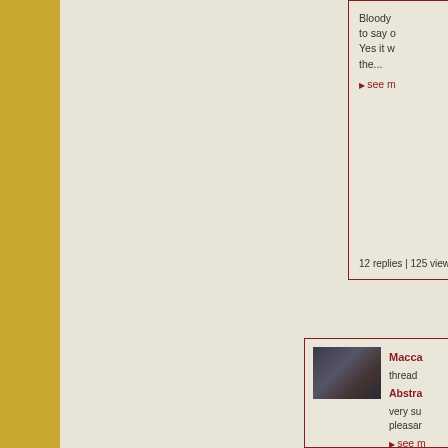Bloody to say o Yes it w the...
▶ see m
12 replies | 125 view(s)
[Figure (photo): Small thumbnail of a person at a computer in dark setting]
Macca thread Abstra very su pleasar
▶ see m